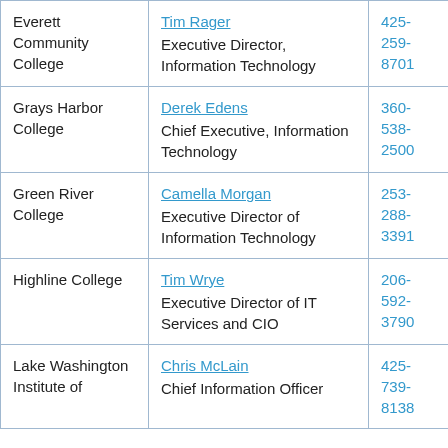| Institution | Contact | Phone |
| --- | --- | --- |
| Everett Community College | Tim Rager
Executive Director, Information Technology | 425-259-8701 |
| Grays Harbor College | Derek Edens
Chief Executive, Information Technology | 360-538-2500 |
| Green River College | Camella Morgan
Executive Director of Information Technology | 253-288-3391 |
| Highline College | Tim Wrye
Executive Director of IT Services and CIO | 206-592-3790 |
| Lake Washington Institute of | Chris McLain
Chief Information Officer | 425-739-8138 |